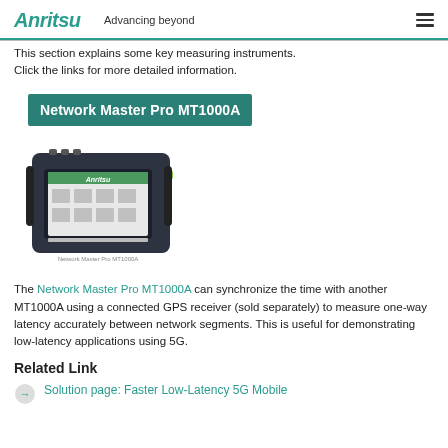Anritsu Advancing beyond
This section explains some key measuring instruments. Click the links for more detailed information.
Network Master Pro MT1000A
[Figure (photo): Photo of the Anritsu Network Master Pro MT1000A portable network testing instrument, a dark grey handheld device with a touchscreen display showing a menu interface.]
The Network Master Pro MT1000A can synchronize the time with another MT1000A using a connected GPS receiver (sold separately) to measure one-way latency accurately between network segments. This is useful for demonstrating low-latency applications using 5G.
Related Link
Solution page: Faster Low-Latency 5G Mobile